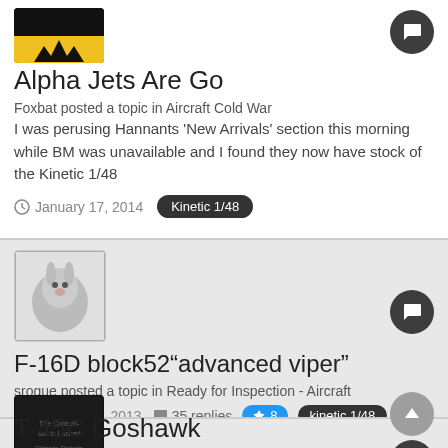[Figure (photo): User avatar with yellow crown/batman logo on black background]
Alpha Jets Are Go
Foxbat posted a topic in Aircraft Cold War
I was perusing Hannants 'New Arrivals' section this morning while BM was unavailable and I found they now have stock of the Kinetic 1/48
January 17, 2014   Kinetic 1/48
[Figure (photo): User avatar with a rabbit/bunny photo in black and white]
F-16D block52"advanced viper"
srogue posted a topic in Ready for Inspection - Aircraft
February 3, 2013  35 replies  8  kinetic 1/48
[Figure (photo): User avatar dark/black image with text]
T-45C Goshawk